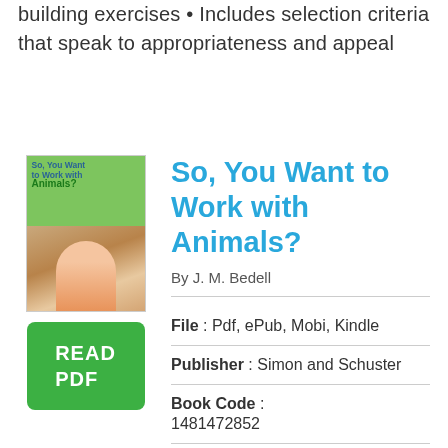building exercises • Includes selection criteria that speak to appropriateness and appeal
[Figure (illustration): Book cover thumbnail for 'So, You Want to Work with Animals?' showing a girl with a horse on a green and brown background]
[Figure (other): Green READ PDF button]
So, You Want to Work with Animals?
By J. M. Bedell
File : Pdf, ePub, Mobi, Kindle
Publisher : Simon and Schuster
Book Code : 1481472852